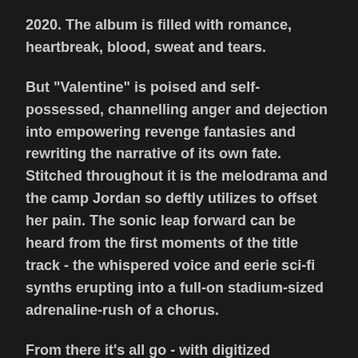2020. The album is filled with romance, heartbreak, blood, sweat and tears.
But "Valentine" is poised and self-possessed, channelling anger and dejection into empowering revenge fantasies and rewriting the narrative of its own fate. Stitched throughout it is the melodrama and the camp Jordan so deftly utilizes to offset her pain. The sonic leap forward can be heard from the first moments of the title track - the whispered voice and eerie sci-fi synths erupting into a full-on stadium-sized adrenaline-rush of a chorus.
From there it's all go - with digitized electronic inflected anthems, swooning baroque FM rockers, smouldering slow-jam R&B, and some of the most gorgeous and heart-rending finger-picked guitar ballads this side of Elliott